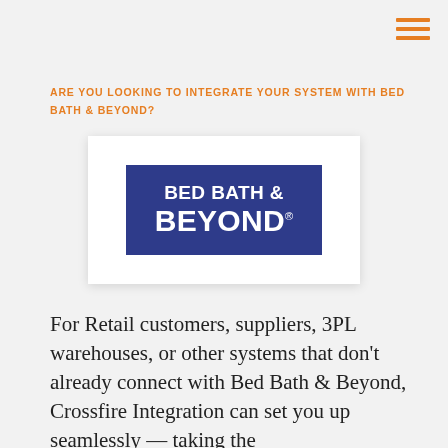[Figure (logo): Hamburger menu icon (three horizontal orange lines) in upper right corner]
ARE YOU LOOKING TO INTEGRATE YOUR SYSTEM WITH BED BATH & BEYOND?
[Figure (logo): Bed Bath & Beyond logo: white text on dark blue/navy rectangle background]
For Retail customers, suppliers, 3PL warehouses, or other systems that don't already connect with Bed Bath & Beyond, Crossfire Integration can set you up seamlessly — taking the